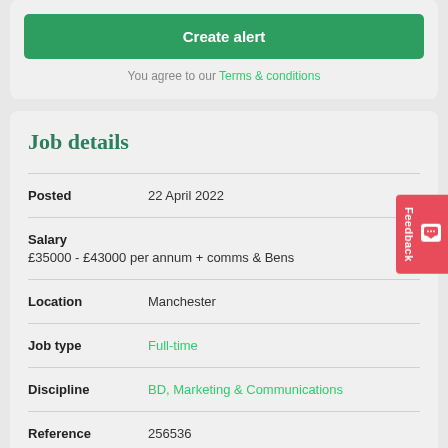Create alert
You agree to our Terms & conditions
Job details
| Posted | 22 April 2022 |
| Salary | £35000 - £43000 per annum + comms & Bens |
| Location | Manchester |
| Job type | Full-time |
| Discipline | BD, Marketing & Communications |
| Reference | 256536 |